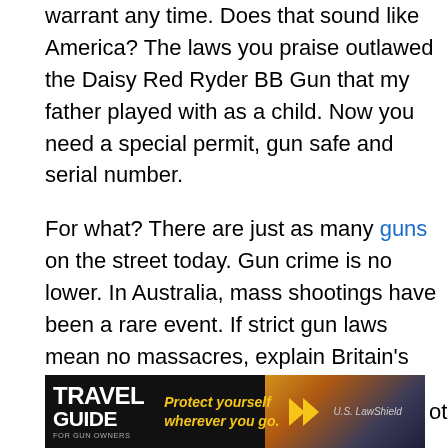warrant any time. Does that sound like America? The laws you praise outlawed the Daisy Red Ryder BB Gun that my father played with as a child. Now you need a special permit, gun safe and serial number.

For what? There are just as many guns on the street today. Gun crime is no lower. In Australia, mass shootings have been a rare event. If strict gun laws mean no massacres, explain Britain's Cumbria shootings, Monkseaton and Dunblane. Or Anders Breivik of Norway?
[Figure (photo): Travel Guide for Gun Owners advertisement banner showing sunset background with text 'Protect yourself wherever you go.' and yellow play arrows, partially visible, with text '...ootings are' continuing to the right]